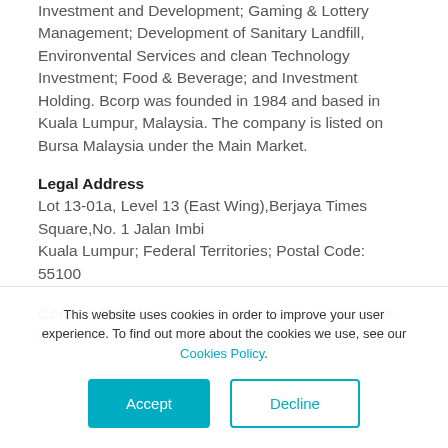Investment and Development; Gaming & Lottery Management; Development of Sanitary Landfill, Environvental Services and clean Technology Investment; Food & Beverage; and Investment Holding. Bcorp was founded in 1984 and based in Kuala Lumpur, Malaysia. The company is listed on Bursa Malaysia under the Main Market.
Legal Address
Lot 13-01a, Level 13 (East Wing),Berjaya Times Square,No. 1 Jalan Imbi
Kuala Lumpur; Federal Territories; Postal Code: 55100
Contact Details: Purchase the Berjaya Corporation Berhad report to view the
This website uses cookies in order to improve your user experience. To find out more about the cookies we use, see our Cookies Policy.